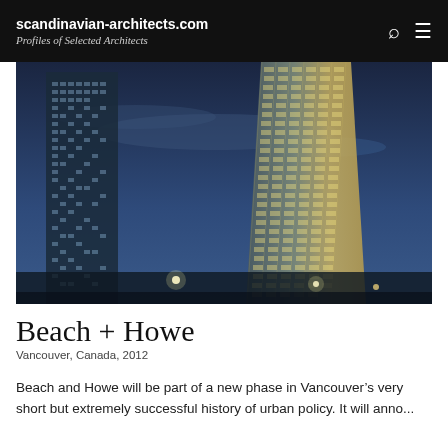scandinavian-architects.com
Profiles of Selected Architects
[Figure (photo): Night-time architectural rendering of two tall modern skyscrapers against a blue dusk sky, with city lights visible at ground level. The right tower is a curved glass high-rise with illuminated windows, and the left is a darker rectangular glass tower.]
Beach + Howe
Vancouver, Canada, 2012
Beach and Howe will be part of a new phase in Vancouver’s very short but extremely successful history of urban policy. It will anno...